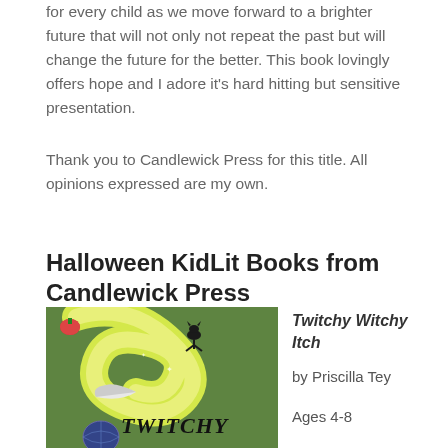for every child as we move forward to a brighter future that will not only not repeat the past but will change the future for the better. This book lovingly offers hope and I adore it's hard hitting but sensitive presentation.
Thank you to Candlewick Press for this title. All opinions expressed are my own.
Halloween KidLit Books from Candlewick Press
[Figure (illustration): Book cover of Twitchy Witchy Itch showing a green background with a swirling yellow-green design, a black cat, a witch's hat, and the title text at the bottom]
Twitchy Witchy Itch
by Priscilla Tey
Ages 4-8